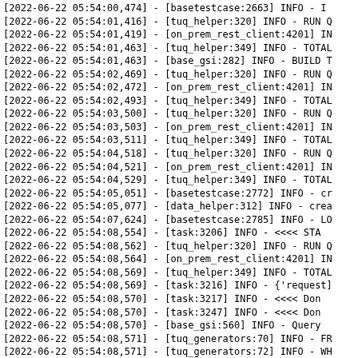[2022-06-22 05:54:00,474] - [basetestcase:2663] INFO - I
[2022-06-22 05:54:01,416] - [tuq_helper:320] INFO - RUN Q
[2022-06-22 05:54:01,419] - [on_prem_rest_client:4201] IN
[2022-06-22 05:54:01,463] - [tuq_helper:349] INFO - TOTAL
[2022-06-22 05:54:01,463] - [base_gsi:282] INFO - BUILD T
[2022-06-22 05:54:02,469] - [tuq_helper:320] INFO - RUN Q
[2022-06-22 05:54:02,472] - [on_prem_rest_client:4201] IN
[2022-06-22 05:54:02,493] - [tuq_helper:349] INFO - TOTAL
[2022-06-22 05:54:03,500] - [tuq_helper:320] INFO - RUN Q
[2022-06-22 05:54:03,503] - [on_prem_rest_client:4201] IN
[2022-06-22 05:54:03,511] - [tuq_helper:349] INFO - TOTAL
[2022-06-22 05:54:04,518] - [tuq_helper:320] INFO - RUN Q
[2022-06-22 05:54:04,521] - [on_prem_rest_client:4201] IN
[2022-06-22 05:54:04,529] - [tuq_helper:349] INFO - TOTAL
[2022-06-22 05:54:05,051] - [basetestcase:2772] INFO - cr
[2022-06-22 05:54:05,077] - [data_helper:312] INFO - crea
[2022-06-22 05:54:07,624] - [basetestcase:2785] INFO - LO
[2022-06-22 05:54:08,554] - [task:3206] INFO -  <<<< STA
[2022-06-22 05:54:08,562] - [tuq_helper:320] INFO - RUN Q
[2022-06-22 05:54:08,564] - [on_prem_rest_client:4201] IN
[2022-06-22 05:54:08,569] - [tuq_helper:349] INFO - TOTAL
[2022-06-22 05:54:08,569] - [task:3216] INFO - {'request]
[2022-06-22 05:54:08,570] - [task:3217] INFO -  <<<< Don
[2022-06-22 05:54:08,570] - [task:3247] INFO -  <<<< Don
[2022-06-22 05:54:08,570] - [base_gsi:560] INFO - Query 
[2022-06-22 05:54:08,571] - [tuq_generators:70] INFO - FR
[2022-06-22 05:54:08,571] - [tuq_generators:72] INFO - WH
[2022-06-22 05:54:08,571] - [tuq_generators:74] INFO - UN
[2022-06-22 05:54:08,572] - [tuq_generators:76] INFO - SE
[2022-06-22 05:54:08,572] - [tuq_generators:326] INFO -